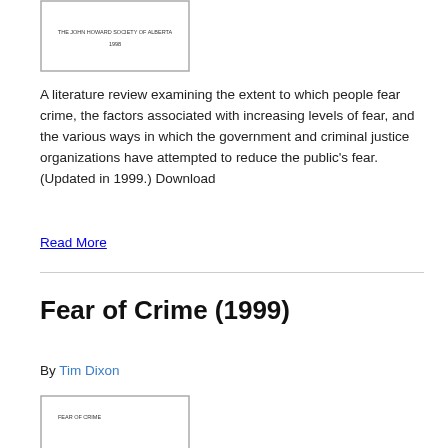[Figure (illustration): Book cover thumbnail showing 'THE JOHN HOWARD SOCIETY OF ALBERTA 1998' text inside a bordered rectangle]
A literature review examining the extent to which people fear crime, the factors associated with increasing levels of fear, and the various ways in which the government and criminal justice organizations have attempted to reduce the public's fear. (Updated in 1999.) Download
Read More
Fear of Crime (1999)
By Tim Dixon
[Figure (illustration): Book cover thumbnail showing 'FEAR OF CRIME' text inside a bordered rectangle]